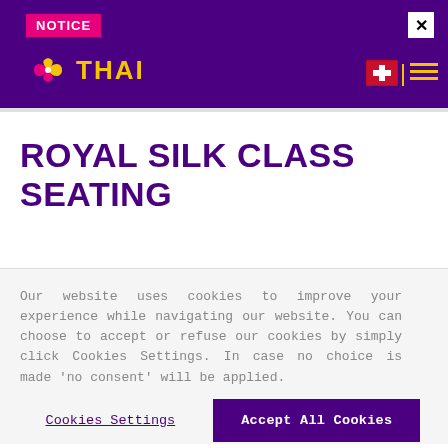NOTICE
[Figure (logo): Thai Airways logo with stylized flower icon and THAI text in gold on purple background]
ROYAL SILK CLASS SEATING
Our website uses cookies to improve your experience while navigating our website. You can choose to accept or refuse our cookies by simply click Cookies Settings. In case no choice is made 'no consent' will be applied.
Cookies Settings
Accept All Cookies